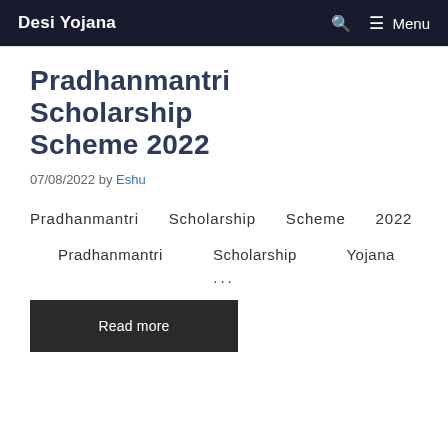Desi Yojana — Menu
Pradhanmantri Scholarship Scheme 2022
07/08/2022 by Eshu
Pradhanmantri Scholarship Scheme 2022
Pradhanmantri Scholarship Yojana ...
Read more